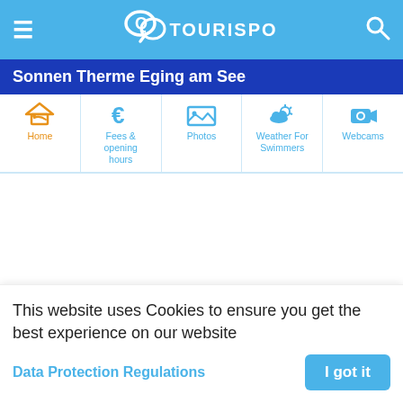TouriSpo
Sonnen Therme Eging am See
[Figure (screenshot): Navigation tabs: Home (active, orange swimmer icon), Fees & opening hours (euro icon), Photos (image icon), Weather For Swimmers (cloud/sun icon), Webcams (camera icon)]
Advertisement
^ How to get there
This website uses Cookies to ensure you get the best experience on our website
Data Protection Regulations
I got it